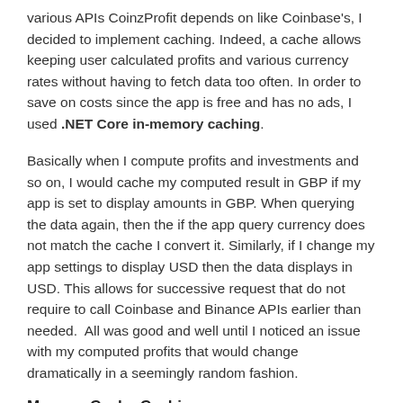various APIs CoinzProfit depends on like Coinbase's, I decided to implement caching. Indeed, a cache allows keeping user calculated profits and various currency rates without having to fetch data too often. In order to save on costs since the app is free and has no ads, I used .NET Core in-memory caching.
Basically when I compute profits and investments and so on, I would cache my computed result in GBP if my app is set to display amounts in GBP. When querying the data again, then the if the app query currency does not match the cache I convert it. Similarly, if I change my app settings to display USD then the data displays in USD. This allows for successive request that do not require to call Coinbase and Binance APIs earlier than needed.  All was good and well until I noticed an issue with my computed profits that would change dramatically in a seemingly random fashion.
Memory Cache Caching